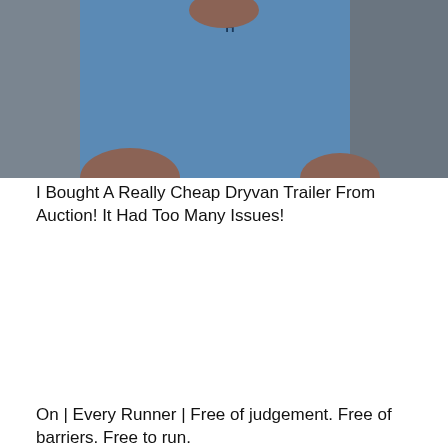[Figure (photo): Partial view of a person in a blue Under Armour t-shirt standing near a gray wall or door]
I Bought A Really Cheap Dryvan Trailer From Auction! It Had Too Many Issues!
[Figure (photo): Outdoor track scene: a woman in black clothes and black face mask doing a high kick, with masked runners in the background on a red track. A white play button icon is overlaid on the image.]
On | Every Runner | Free of judgement. Free of barriers. Free to run.